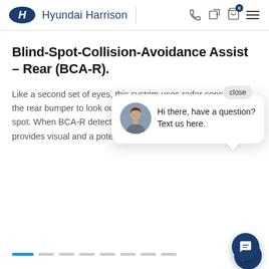Hyundai Harrison
Blind-Spot-Collision-Avoidance Assist – Rear (BCA-R).
Like a second set of eyes, this system uses radar sensors in the rear bumper to look out for vehicles in the drivers' blind spot. When BCA-R detects a vehicle in those blind spots, it provides visual and a… potential co… steering ma… of harm's w…
[Figure (screenshot): Chat popup overlay with avatar photo of a woman and text 'Hi there, have a question? Text us here.' with a close button and chat bubble icon button.]